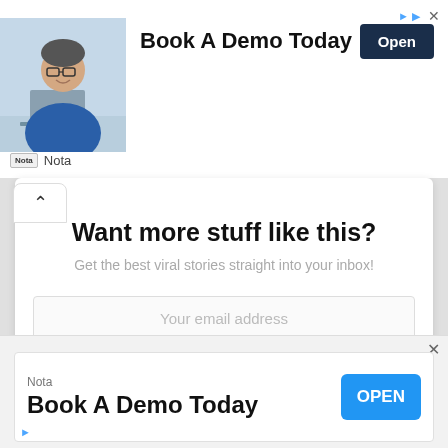[Figure (screenshot): Top advertisement banner for 'Nota' showing a smiling man with glasses in a blue shirt, text 'Book A Demo Today' and a dark blue 'Open' button, with ad icon and X close button in top right corner]
Want more stuff like this?
Get the best viral stories straight into your inbox!
Your email address
SIGN UP
Don't worry, we don't spam
[Figure (screenshot): Bottom advertisement banner for 'Nota' with text 'Book A Demo Today' in large bold font and a blue 'OPEN' button, with ad triangle icon at bottom left and X close button at top right]